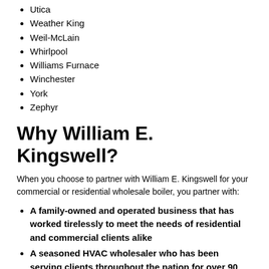Utica
Weather King
Weil-McLain
Whirlpool
Williams Furnace
Winchester
York
Zephyr
Why William E. Kingswell?
When you choose to partner with William E. Kingswell for your commercial or residential wholesale boiler, you partner with:
A family-owned and operated business that has worked tirelessly to meet the needs of residential and commercial clients alike
A seasoned HVAC wholesaler who has been serving clients throughout the nation for over 90 years
A team dedicated to customer service above all else
A team dedicated to delivering an exceptional...